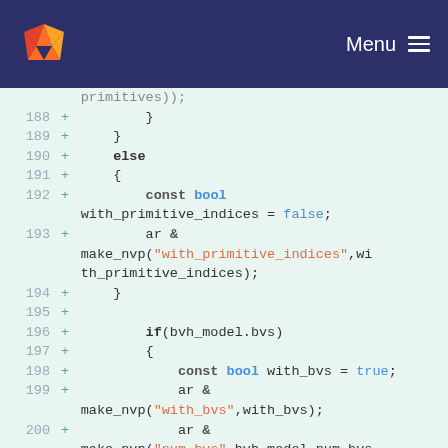GitLab logo | Menu
[Figure (screenshot): Code diff view showing lines 188-200+ with added lines (green +) containing C++ code with if/else blocks, const bool declarations, and archive serialization calls for with_primitive_indices, with_bvs, and num_bvs fields.]